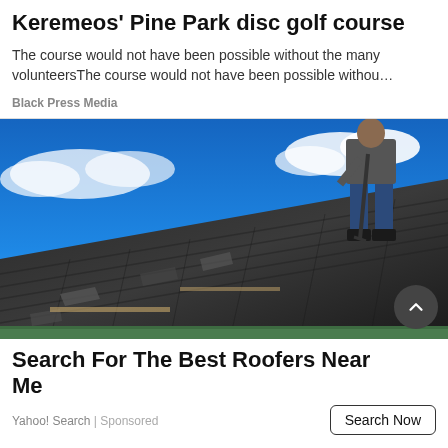Keremeos' Pine Park disc golf course
The course would not have been possible without the many volunteersThe course would not have been possible withou…
Black Press Media
[Figure (photo): A worker standing on a damaged shingled roof with blue sky in the background, holding a tool and working on removing or replacing roof shingles. Green gutter visible at bottom.]
Search For The Best Roofers Near Me
Yahoo! Search | Sponsored
Search Now